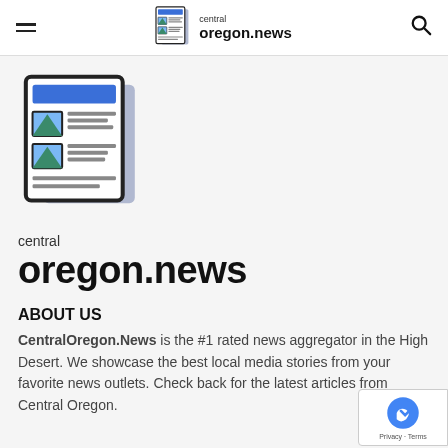central oregon.news
[Figure (logo): Newspaper icon logo for central oregon.news — a stylized newspaper with blue header bar, blue and teal image placeholders, and text lines, with a folded page effect.]
central
oregon.news
ABOUT US
CentralOregon.News is the #1 rated news aggregator in the High Desert. We showcase the best local media stories from your favorite news outlets. Check back for the latest articles from Central Oregon.